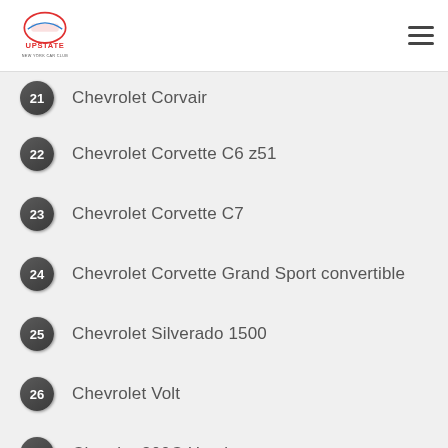Upstate New York Car Club
21 Chevrolet Corvair
22 Chevrolet Corvette C6 z51
23 Chevrolet Corvette C7
24 Chevrolet Corvette Grand Sport convertible
25 Chevrolet Silverado 1500
26 Chevrolet Volt
27 Chrysler 300C Hemi
28 Dodge Dart Rallye
29 Ferrari 458 Italia
30 Ferrari F12 Berlinetta
31 Fiat 124